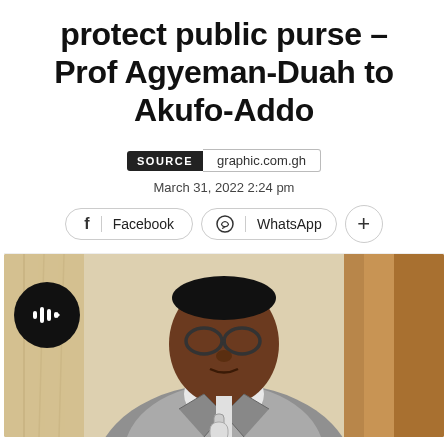protect public purse – Prof Agyeman-Duah to Akufo-Addo
SOURCE   graphic.com.gh
March 31, 2022 2:24 pm
Facebook   WhatsApp   +
[Figure (photo): A man wearing glasses and a grey suit jacket speaking into a microphone, seated indoors with curtains in the background. A circular play button icon is overlaid on the lower left of the image.]